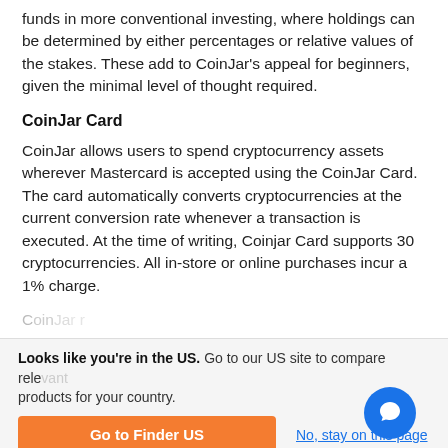funds in more conventional investing, where holdings can be determined by either percentages or relative values of the stakes. These add to CoinJar's appeal for beginners, given the minimal level of thought required.
CoinJar Card
CoinJar allows users to spend cryptocurrency assets wherever Mastercard is accepted using the CoinJar Card. The card automatically converts cryptocurrencies at the current conversion rate whenever a transaction is executed. At the time of writing, Coinjar Card supports 30 cryptocurrencies. All in-store or online purchases incur a 1% charge.
Looks like you're in the US. Go to our US site to compare relevant products for your country.